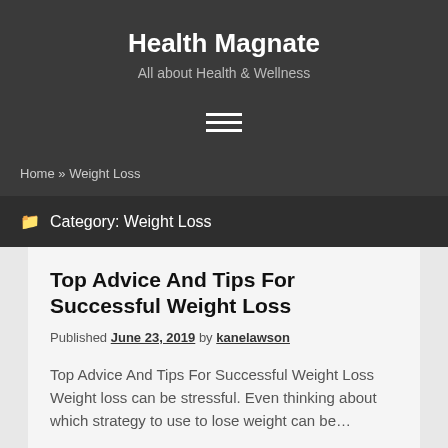Health Magnate
All about Health & Wellness
Home » Weight Loss
Category: Weight Loss
Top Advice And Tips For Successful Weight Loss
Published June 23, 2019 by kanelawson
Top Advice And Tips For Successful Weight Loss Weight loss can be stressful. Even thinking about which strategy to use to lose weight can be…